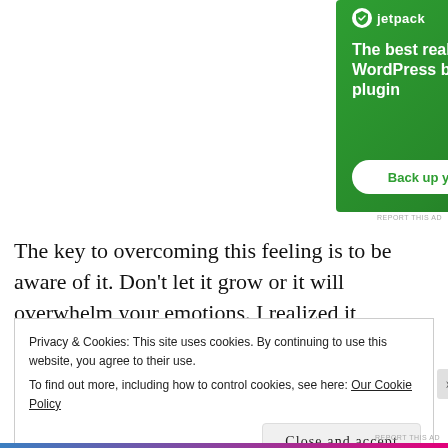[Figure (illustration): Jetpack WordPress plugin advertisement banner with green background. Shows Jetpack logo at top, headline 'The best real-time WordPress backup plugin', and a white button 'Back up your site'.]
REPORT THIS AD
The key to overcoming this feeling is to be aware of it. Don't let it grow or it will overwhelm your emotions. I realized it immediately
Privacy & Cookies: This site uses cookies. By continuing to use this website, you agree to their use.
To find out more, including how to control cookies, see here: Our Cookie Policy
Close and accept